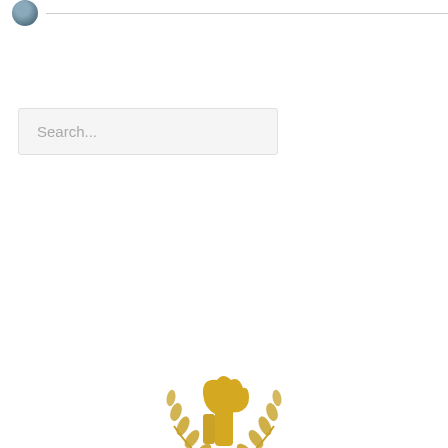[Figure (logo): Small circular avatar/profile photo with a horizontal line extending to the right]
[Figure (screenshot): Search input box with placeholder text 'Search...' on light gray background]
Recommended By
Best in Singapore
[Figure (illustration): Gold laurel wreath award badge with a trophy/thumbs-up in the center, partially visible at bottom of page]